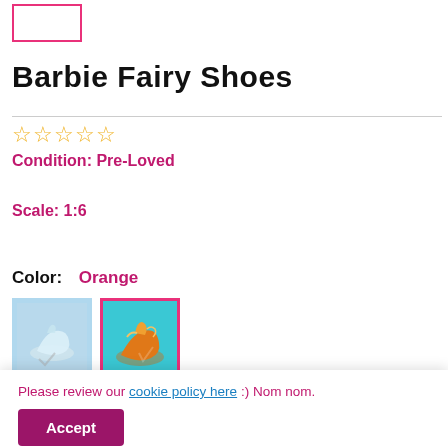[Figure (photo): Small pink-bordered box thumbnail at top left (product thumbnail placeholder)]
Barbie Fairy Shoes
Condition: Pre-Loved
Scale: 1:6
Color: Orange
[Figure (photo): Two product color thumbnails: white Barbie fairy shoes on light blue background (left), orange Barbie fairy shoes on teal background with pink border (right, selected)]
Please review our cookie policy here :) Nom nom.
Price: $ 3.75 USD